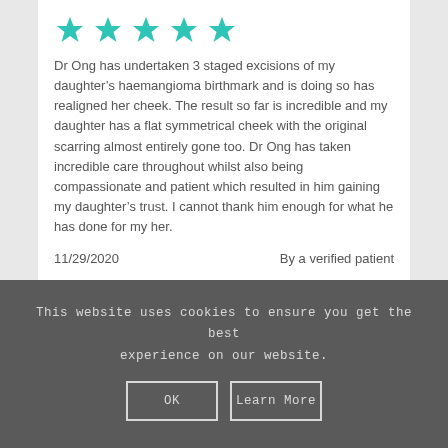[Figure (other): Five teal/turquoise star rating icons indicating a 5-star review]
Dr Ong has undertaken 3 staged excisions of my daughter’s haemangioma birthmark and is doing so has realigned her cheek. The result so far is incredible and my daughter has a flat symmetrical cheek with the original scarring almost entirely gone too. Dr Ong has taken incredible care throughout whilst also being compassionate and patient which resulted in him gaining my daughter’s trust. I cannot thank him enough for what he has done for my her.
11/29/2020    By a verified patient
This website uses cookies to ensure you get the best experience on our website.
OK
Learn More